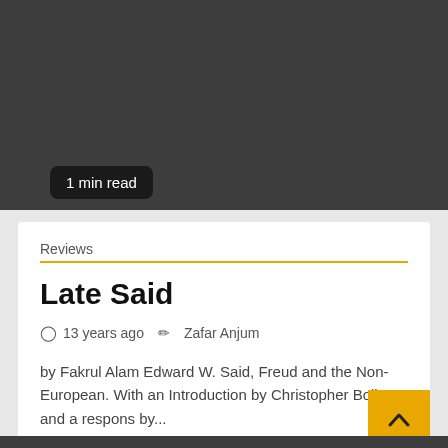[Figure (other): Dark gray banner image area at the top of the page]
1 min read
Reviews
Late Said
⊙ 13 years ago  ✏ Zafar Anjum
by Fakrul Alam Edward W. Said, Freud and the Non-European. With an Introduction by Christopher Bollas and a respons by...